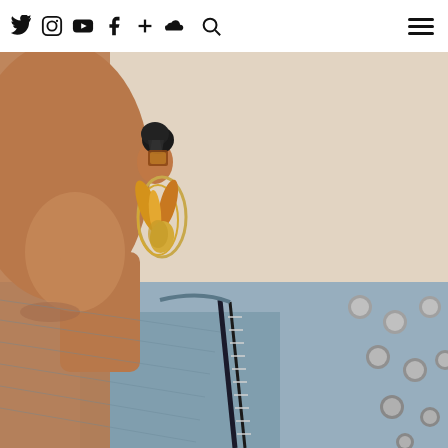Navigation bar with social media icons: Twitter, Instagram, YouTube, Facebook, Plus, SoundCloud, Search, and hamburger menu
[Figure (photo): Close-up portrait photo of a person with dark skin wearing large decorative earrings (black, gold, and amber tones with feather-like pendants) and a studded denim jacket with a zipper. The background is a light cream/beige color. The photo is cropped showing the lower face, ear, neck, and upper torso/shoulder area.]